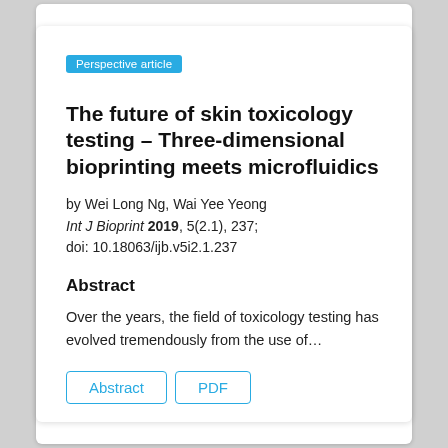Perspective article
The future of skin toxicology testing – Three-dimensional bioprinting meets microfluidics
by Wei Long Ng, Wai Yee Yeong
Int J Bioprint 2019, 5(2.1), 237; doi: 10.18063/ijb.v5i2.1.237
Abstract
Over the years, the field of toxicology testing has evolved tremendously from the use of…
Abstract
PDF